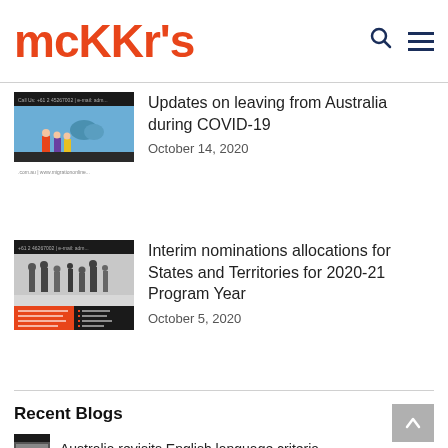McHKr's
[Figure (screenshot): Thumbnail image showing Sydney Opera House and people, immigration website screenshot]
Updates on leaving from Australia during COVID-19
October 14, 2020
[Figure (photo): Thumbnail black and white photo of people in an airport terminal, immigration brochure style]
Interim nominations allocations for States and Territories for 2020-21 Program Year
October 5, 2020
Recent Blogs
[Figure (photo): Small thumbnail photo]
Australia revisits English language criteria